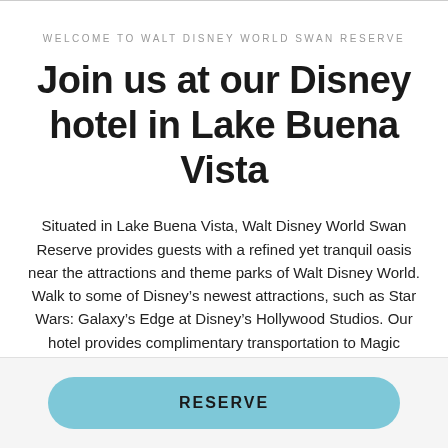WELCOME TO WALT DISNEY WORLD SWAN RESERVE
Join us at our Disney hotel in Lake Buena Vista
Situated in Lake Buena Vista, Walt Disney World Swan Reserve provides guests with a refined yet tranquil oasis near the attractions and theme parks of Walt Disney World. Walk to some of Disney’s newest attractions, such as Star Wars: Galaxy’s Edge at Disney’s Hollywood Studios. Our hotel provides complimentary transportation to Magic Kingdom, Disney’s Animal Kingdom and other locations throughout the...
See More
RESERVE